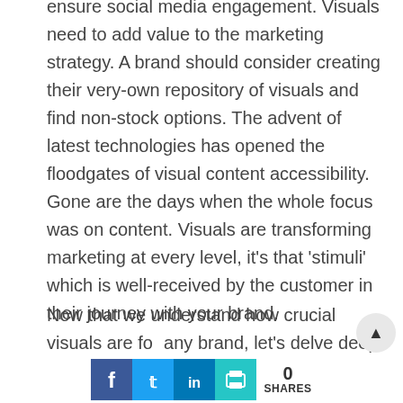ensure social media engagement. Visuals need to add value to the marketing strategy. A brand should consider creating their very-own repository of visuals and find non-stock options. The advent of latest technologies has opened the floodgates of visual content accessibility. Gone are the days when the whole focus was on content. Visuals are transforming marketing at every level, it’s that ‘stimuli’ which is well-received by the customer in their journey with your brand.
Now that we understand how crucial visuals are for any brand, let’s delve deep and understand the things to consider for creating a robust visual identity for your brand.